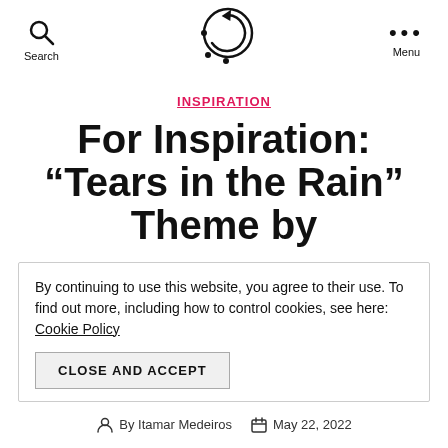Search | [Logo] | Menu
INSPIRATION
For Inspiration: “Tears in the Rain” Theme by
By continuing to use this website, you agree to their use. To find out more, including how to control cookies, see here: Cookie Policy
CLOSE AND ACCEPT
By Itamar Medeiros   May 22, 2022